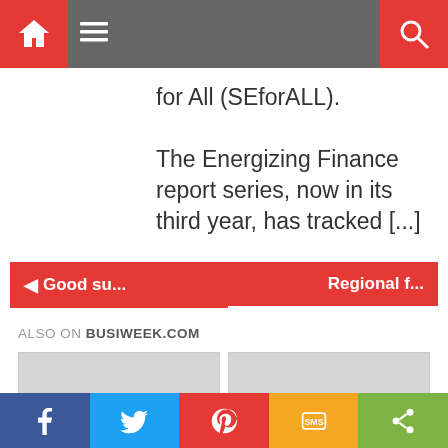Navigation bar with home icon, menu icon, and search icon
for All (SEforALL). The Energizing Finance report series, now in its third year, has tracked [...]
◄ Good su...
Regional f...
ALSO ON BUSIWEEK.COM
[Figure (screenshot): Two content cards side by side under 'Also on Busiweek.com' section, with navigation buttons]
Social share bar: Facebook, Twitter, Pinterest, SMS, Share